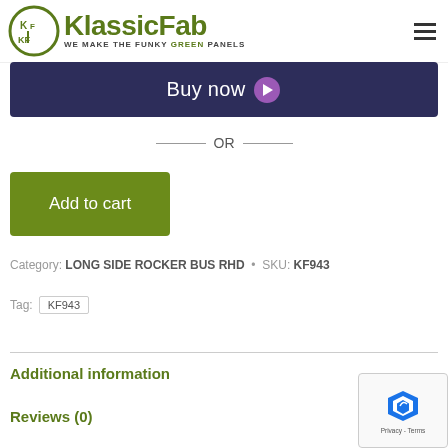[Figure (logo): KlassicFab logo with circular KF emblem and tagline 'WE MAKE THE FUNKY GREEN PANELS']
[Figure (other): Dark navy Buy now button with chevron arrow]
— OR —
[Figure (other): Green Add to cart button]
Category: LONG SIDE ROCKER BUS RHD • SKU: KF943
Tag: KF943
Additional information
Reviews (0)